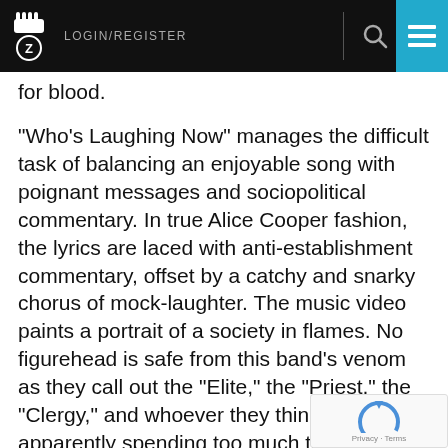LOGIN/REGISTER
for blood.
"Who's Laughing Now" manages the difficult task of balancing an enjoyable song with poignant messages and sociopolitical commentary. In true Alice Cooper fashion, the lyrics are laced with anti-establishment commentary, offset by a catchy and snarky chorus of mock-laughter. The music video paints a portrait of a society in flames. No figurehead is safe from this band's venom as they call out the "Elite," the "Priest," the "Clergy," and whoever they think is apparently spending too much time tweeting and stumbling through speeches.
Even with some political shots fired between the lines, the Hollywood Vampires' newest track ri... with infectious and undeniable charm. Read...